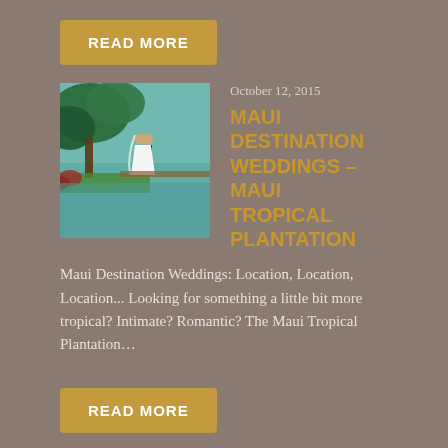READ MORE
October 12, 2015
[Figure (photo): A couple in wedding attire standing near a tropical pond with lush green trees]
MAUI DESTINATION WEDDINGS – MAUI TROPICAL PLANTATION
Maui Destination Weddings: Location, Location, Location... Looking for something a little bit more tropical? Intimate? Romantic? The Maui Tropical Plantation…
READ MORE
CATEGORIES